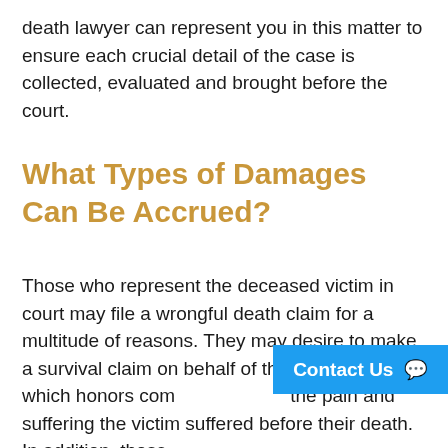death lawyer can represent you in this matter to ensure each crucial detail of the case is collected, evaluated and brought before the court.
What Types of Damages Can Be Accrued?
Those who represent the deceased victim in court may file a wrongful death claim for a multitude of reasons. They may desire to make a survival claim on behalf of the deceased, which honors compensation for the pain and suffering the victim suffered before their death. In addition, those